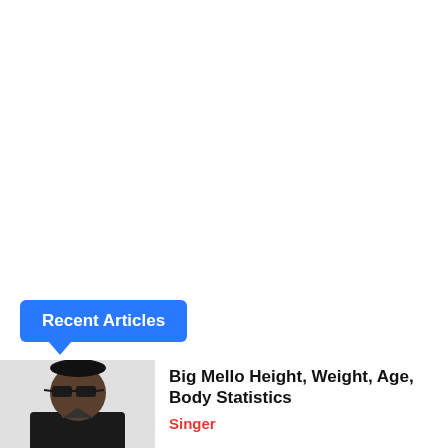Recent Articles
[Figure (photo): Black and white photo of Big Mello, a man wearing sunglasses and a dark jacket, shown from chest up]
Big Mello Height, Weight, Age, Body Statistics
Singer